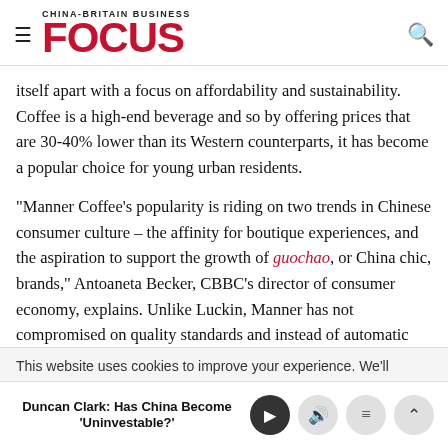CHINA-BRITAIN BUSINESS FOCUS
itself apart with a focus on affordability and sustainability. Coffee is a high-end beverage and so by offering prices that are 30-40% lower than its Western counterparts, it has become a popular choice for young urban residents.
“Manner Coffee’s popularity is riding on two trends in Chinese consumer culture – the affinity for boutique experiences, and the aspiration to support the growth of guochao, or China chic, brands,” Antoaneta Becker, CBBC’s director of consumer economy, explains. Unlike Luckin, Manner has not compromised on quality standards and instead of automatic coffee machines, it prefers to use Chinese traditional roasters
This website uses cookies to improve your experience. We’ll
Duncan Clark: Has China Become ‘Uninvestable?’